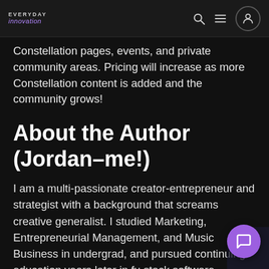EVERYDAY innovation
Constellation pages, events, and private community areas. Pricing will increase as more Constellation content is added and the community grows!
About the Author (Jordan–me!)
I am a multi-passionate creator-entrepreneur and strategist with a background that screams creative generalist. I studied Marketing, Entrepreneurial Management, and Music Business in undergrad, and pursued continuing education years later in full stack software development. I have worked with several industries in management, product